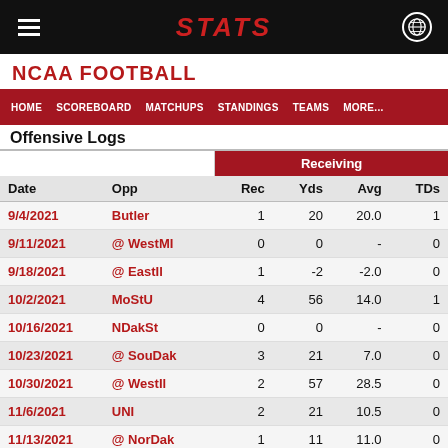STATS
NCAA FOOTBALL
HOME   SCOREBOARD   MATCHUPS   STANDINGS   TEAMS   MORE...
Offensive Logs
| Date | Opp | Rec | Yds | Avg | TDs |
| --- | --- | --- | --- | --- | --- |
| 9/4/2021 | Butler | 1 | 20 | 20.0 | 1 |
| 9/11/2021 | @ WestMI | 0 | 0 | - | 0 |
| 9/18/2021 | @ EastIl | 1 | -2 | -2.0 | 0 |
| 10/2/2021 | MoStU | 4 | 56 | 14.0 | 1 |
| 10/16/2021 | NDakSt | 0 | 0 | - | 0 |
| 10/23/2021 | @ SouDak | 3 | 21 | 7.0 | 0 |
| 10/30/2021 | @ WestIl | 2 | 57 | 28.5 | 0 |
| 11/6/2021 | UNI | 2 | 21 | 10.5 | 0 |
| 11/13/2021 | @ NorDak | 1 | 11 | 11.0 | 0 |